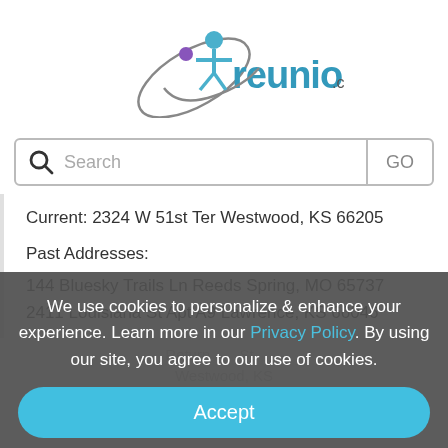[Figure (logo): reunion.com logo with stylized figure and orbit graphic]
Search GO
Current: 2324 W 51st Ter Westwood, KS 66205
Past Addresses:
144 Bluesky Trails Ln Reeds Spring, MO 65737
2411 Louisiana St Apt A9 Lawrence, KS 66046
We use cookies to personalize & enhance your experience. Learn more in our Privacy Policy. By using our site, you agree to our use of cookies.
Accept